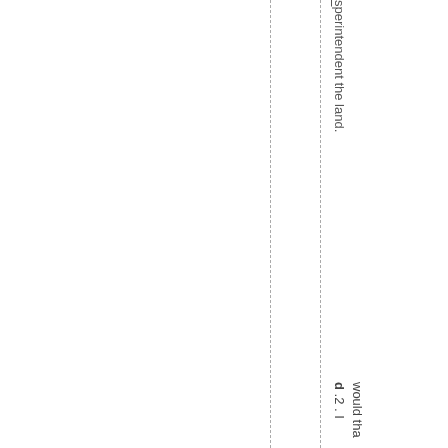superintendent the land.
d .2 . I would tha